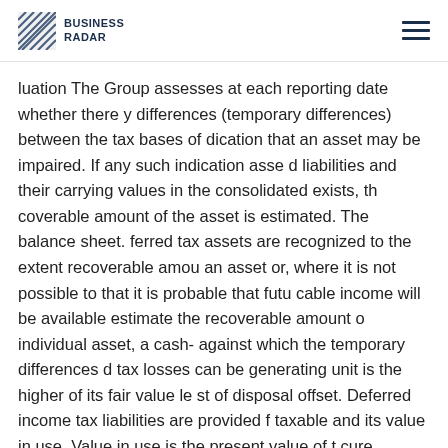BUSINESS RADAR
luation The Group assesses at each reporting date whether there y differences (temporary differences) between the tax bases of dication that an asset may be impaired. If any such indication asse d liabilities and their carrying values in the consolidated exists, th coverable amount of the asset is estimated. The balance sheet. ferred tax assets are recognized to the extent recoverable amou an asset or, where it is not possible to that it is probable that futu cable income will be available estimate the recoverable amount o individual asset, a cash- against which the temporary differences d tax losses can be generating unit is the higher of its fair value le st of disposal offset. Deferred income tax liabilities are provided f taxable and its value in use. Value in use is the present value of t cure temporary differences arising from investments in subsidiari sh flows expected to be derived from an asset or cash-gener- cept for deferred income tax liability where the timing of the ating it. If the recoverable amount is lower than the carrying reversal o a temporary difference is controlled by the Group amount, a